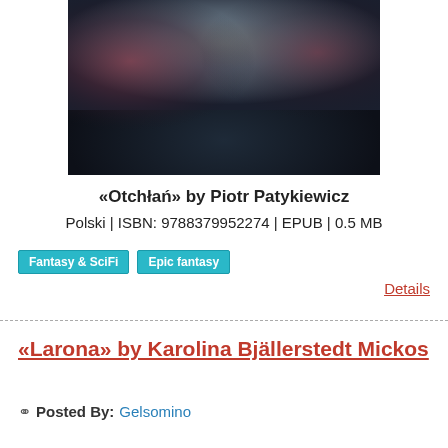[Figure (illustration): Book cover image with blurred dark and reddish tones, abstract lighting effect]
«Otchłań» by Piotr Patykiewicz
Polski | ISBN: 9788379952274 | EPUB | 0.5 MB
Fantasy & SciFi   Epic fantasy
Details
«Larona» by Karolina Bjällerstedt Mickos
Posted By: Gelsomino